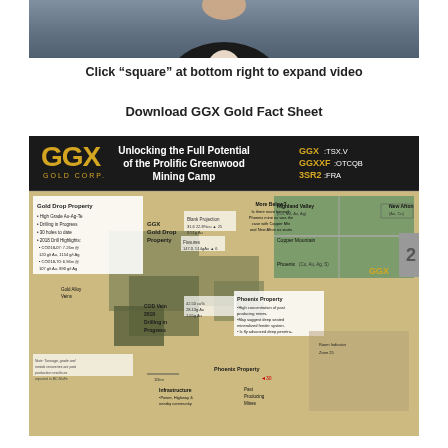[Figure (photo): Partial photo of a person in a dark jacket, torso and lower face visible, appearing to be seated in front of a blurred background]
Click “square” at bottom right to expand video
Download GGX Gold Fact Sheet
[Figure (infographic): GGX Gold Corp infographic banner and property map. Banner header in black background shows GGX Gold Corp logo in gold, text 'Unlocking the Full Potential of the Prolific Greenwood Mining Camp', and ticker symbols GGX:TSX.V, GGXXF:OTCQB, 3SR2:FRA. Below is a detailed mining property map showing Gold Drop Property and Phoenix Property with drill highlights and geographic features.]